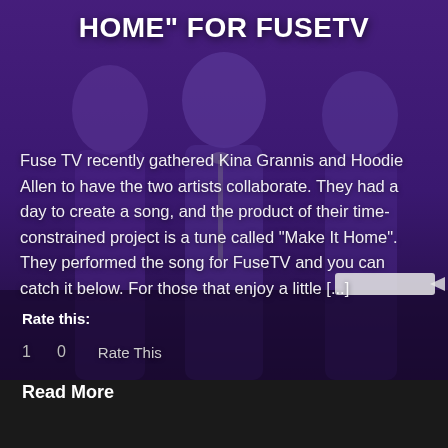HOME” FOR FUSETV
Fuse TV recently gathered Kina Grannis and Hoodie Allen to have the two artists collaborate. They had a day to create a song, and the product of their time-constrained project is a tune called “Make It Home”. They performed the song for FuseTV and you can catch it below. For those that enjoy a little [...]
Rate this:
1   0   Rate This
Read More